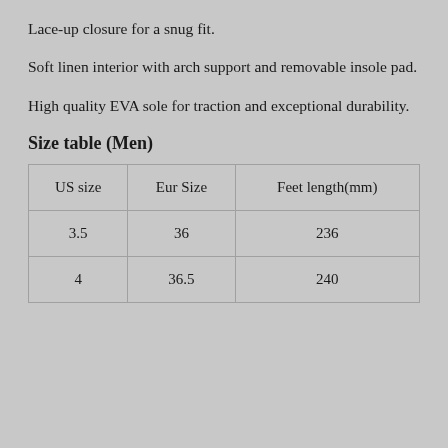Lace-up closure for a snug fit.
Soft linen interior with arch support and removable insole pad.
High quality EVA sole for traction and exceptional durability.
Size table (Men)
| US size | Eur Size | Feet length(mm) |
| --- | --- | --- |
| 3.5 | 36 | 236 |
| 4 | 36.5 | 240 |